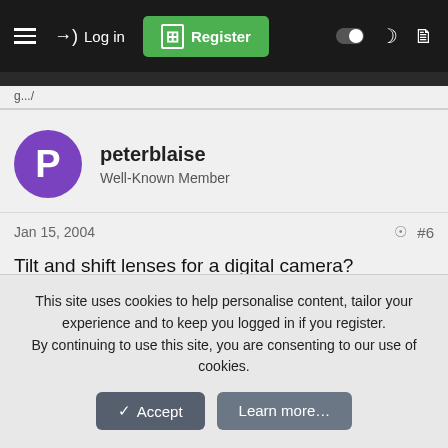Log in | Register
peterblaise
Well-Known Member
Jan 15, 2004   #6
Tilt and shift lenses for a digital camera?
There's already a bag for the Nikon and Canon, so when the
This site uses cookies to help personalise content, tailor your experience and to keep you logged in if you register.
By continuing to use this site, you are consenting to our use of cookies.
Accept  Learn more...